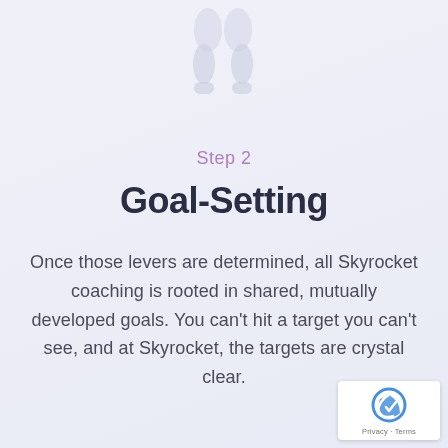[Figure (illustration): Partial illustration of a human figure (legs/lower torso visible) in light gray/lavender tones at the top center of the page]
Step 2
Goal-Setting
Once those levers are determined, all Skyrocket coaching is rooted in shared, mutually developed goals. You can’t hit a target you can’t see, and at Skyrocket, the targets are crystal clear.
[Figure (logo): reCAPTCHA badge with logo and Privacy - Terms links]